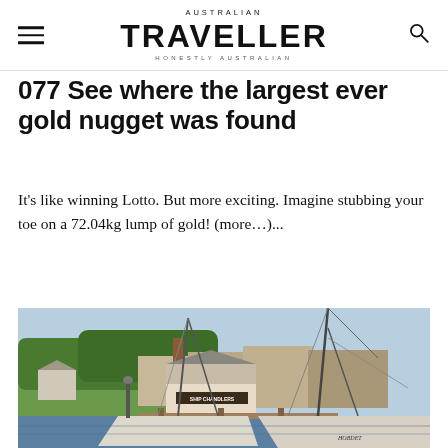AUSTRALIAN TRAVELLER HONESTLY AUSTRALIAN
077 See where the largest ever gold nugget was found
It's like winning Lotto. But more exciting. Imagine stubbing your toe on a 72.04kg lump of gold! (more…)...
[Figure (photo): Harbour scene with historic buildings, a wooden ship chandler's store, sailing boats moored at a dock, green lawn, and trees in the background under a clear blue sky.]